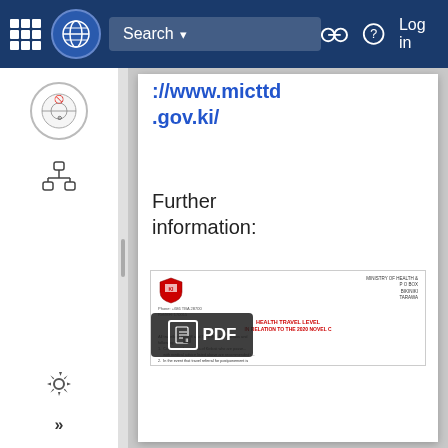Search | Log in
://www.micttd.gov.ki/
Further information:
[Figure (screenshot): Screenshot of a Government of Kiribati Ministry of Health PDF document titled 'HEALTH TRAVEL LEVEL IN RELATION TO THE 2020 NOVEL' with numbered list items and a PDF download button overlay]